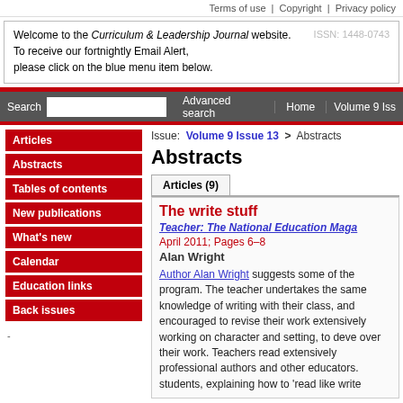Terms of use | Copyright | Privacy policy
Welcome to the Curriculum & Leadership Journal website. To receive our fortnightly Email Alert, please click on the blue menu item below.
ISSN: 1448-0743
Search | Advanced search | Home | Volume 9 Issue
Articles
Abstracts
Tables of contents
New publications
What's new
Calendar
Education links
Back issues
Issue: Volume 9 Issue 13 > Abstracts
Abstracts
Articles (9)
The write stuff
Teacher: The National Education Magazine
April 2011; Pages 6–8
Alan Wright
Author Alan Wright suggests some of the program. The teacher undertakes the same knowledge of writing with their class, and encouraged to revise their work extensively working on character and setting, to deve over their work. Teachers read extensively professional authors and other educators. students, explaining how to 'read like write